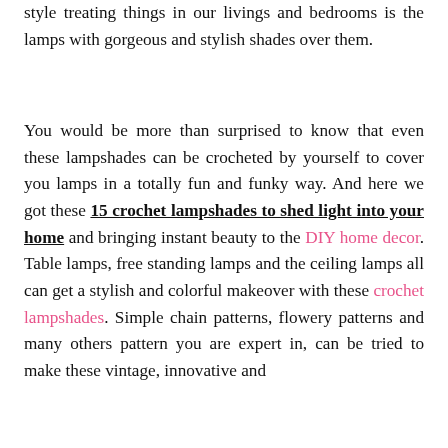style treating things in our livings and bedrooms is the lamps with gorgeous and stylish shades over them.
You would be more than surprised to know that even these lampshades can be crocheted by yourself to cover you lamps in a totally fun and funky way. And here we got these 15 crochet lampshades to shed light into your home and bringing instant beauty to the DIY home decor. Table lamps, free standing lamps and the ceiling lamps all can get a stylish and colorful makeover with these crochet lampshades. Simple chain patterns, flowery patterns and many others pattern you are expert in, can be tried to make these vintage, innovative and